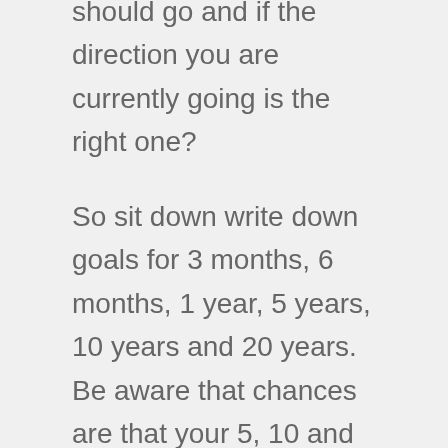should go and if the direction you are currently going is the right one?
So sit down write down goals for 3 months, 6 months, 1 year, 5 years, 10 years and 20 years. Be aware that chances are that your 5, 10 and 20 year goals will look completely different once you get there, but you have to start somewhere and start going towards something. You can always adjust down the road and as a matter of fact you should and must do that on a regular basis (like 2 times a